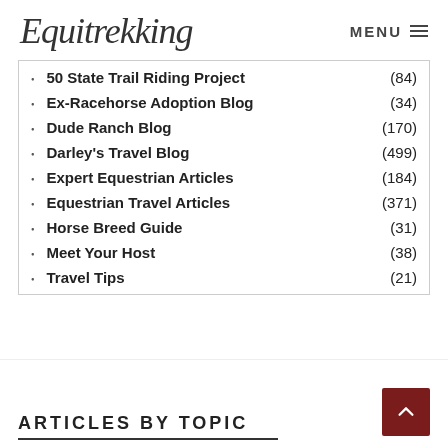Equitrekking  MENU
50 State Trail Riding Project (84)
Ex-Racehorse Adoption Blog (34)
Dude Ranch Blog (170)
Darley's Travel Blog (499)
Expert Equestrian Articles (184)
Equestrian Travel Articles (371)
Horse Breed Guide (31)
Meet Your Host (38)
Travel Tips (21)
ARTICLES BY TOPIC